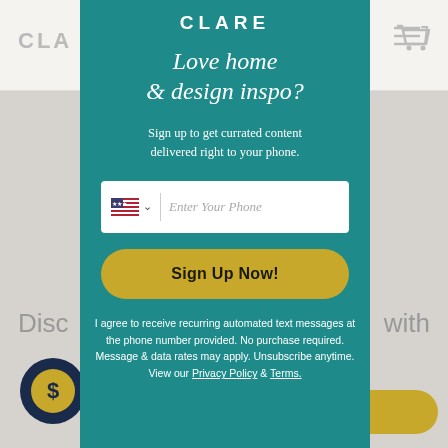[Figure (screenshot): Background website screenshot showing Clare paint brand page with header navigation, partial text 'Disc...with', coin/dollar icon, and yellow pill button]
[Figure (screenshot): Modal popup overlay on Clare website. Contains Clare logo, headline 'Love home & design inspo?', subtitle text, phone input field with US flag, Sign Up Now button, and legal disclaimer text with Privacy Policy and Terms links.]
CLARE
Love home & design inspo?
Sign up to get currated content delivered right to your phone.
Enter Your Phone
Sign Up Now!
I agree to receive recurring automated text messages at the phone number provided. No purchase required. Message & data rates may apply. Unsubscribe anytime. View our Privacy Policy & Terms.